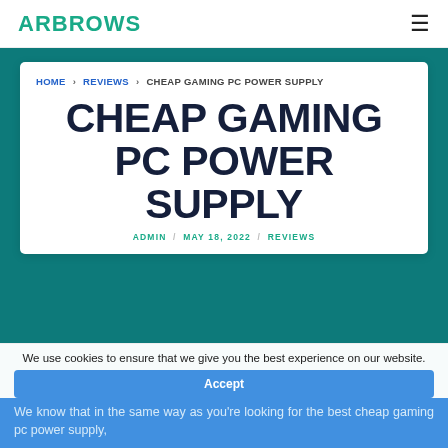ARBROWS
HOME › REVIEWS › CHEAP GAMING PC POWER SUPPLY
CHEAP GAMING PC POWER SUPPLY
ADMIN / MAY 18, 2022 / REVIEWS
We use cookies to ensure that we give you the best experience on our website.
Accept
We know that in the same way as you're looking for the best cheap gaming pc power supply,